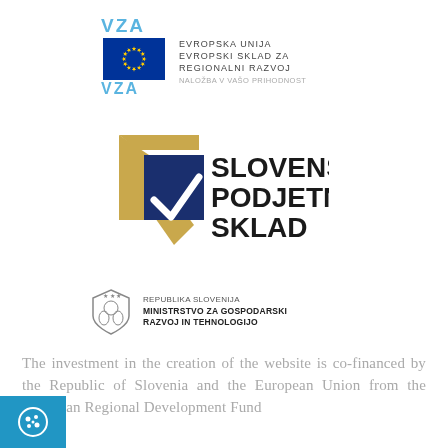[Figure (logo): Evropska Unija / EU Regional Development Fund logo with EU flag and Slovenian text: EVROPSKA UNIJA, EVROPSKI SKLAD ZA REGIONALNI RAZVOJ, NALOŽBA V VAŠO PRIHODNOST]
[Figure (logo): Slovenski Podjetniški Sklad logo with gold and navy checkmark/envelope graphic]
[Figure (logo): Republika Slovenija - Ministrstvo za Gospodarski Razvoj in Tehnologijo logo with shield emblem]
The investment in the creation of the website is co-financed by the Republic of Slovenia and the European Union from the European Regional Development Fund
[Figure (illustration): Cookie icon (white cookie/biscuit with dots) on blue square background]